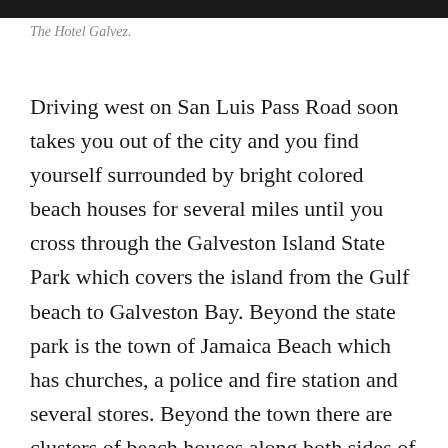[Figure (photo): Top portion of an image, showing a dark band at the very top of the page (cropped photo of The Hotel Galvez)]
The Hotel Galvez.
Driving west on San Luis Pass Road soon takes you out of the city and you find yourself surrounded by bright colored beach houses for several miles until you cross through the Galveston Island State Park which covers the island from the Gulf beach to Galveston Bay. Beyond the state park is the town of Jamaica Beach which has churches, a police and fire station and several stores. Beyond the town there are clusters of beach houses along both sides of the road all the way to the end of the island. On the bay side of the island there are some very nice residential communities with boat access to the bay.